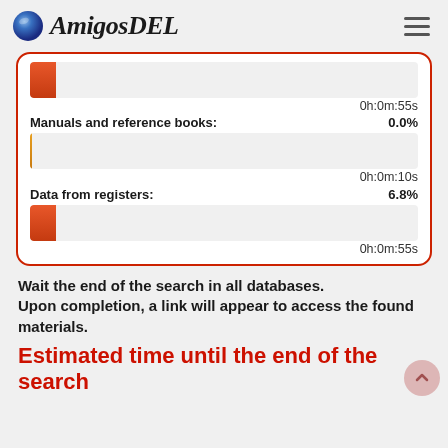AmigosDEL
[Figure (infographic): Progress bars card with red border showing two items: first item with red progress bar (~6.8%) labeled with time 0h:0m:55s; second item 'Manuals and reference books: 0.0%' with orange/empty progress bar and time 0h:0m:10s; third item 'Data from registers: 6.8%' with red progress bar and time 0h:0m:55s]
Wait the end of the search in all databases.
Upon completion, a link will appear to access the found materials.
Estimated time until the end of the search